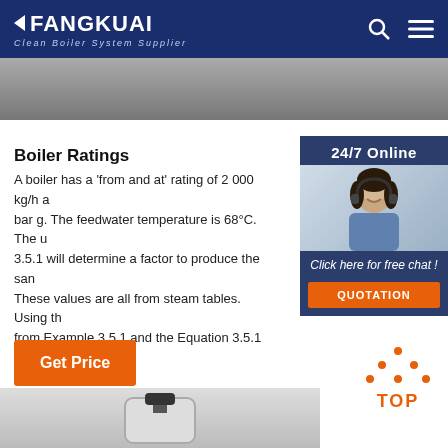FANGKUAI - Clean Boiler System Supplier
[Figure (photo): Hero image strip showing industrial boiler equipment]
Boiler Ratings
A boiler has a 'from and at' rating of 2 000 kg/h at 3.5 bar g. The feedwater temperature is 68°C. The use of Example 3.5.1 will determine a factor to produce the same result. These values are all from steam tables. Using the factor from Example 3.5.1 and the Equation 3.5.1 the equivalent evaporation can be calculated:
[Figure (photo): 24/7 Online customer service representative with headset sidebar widget]
Get Price
[Figure (illustration): TOP back-to-top button with orange dot triangle icon]
[Figure (photo): Bottom strip showing boiler equipment image]